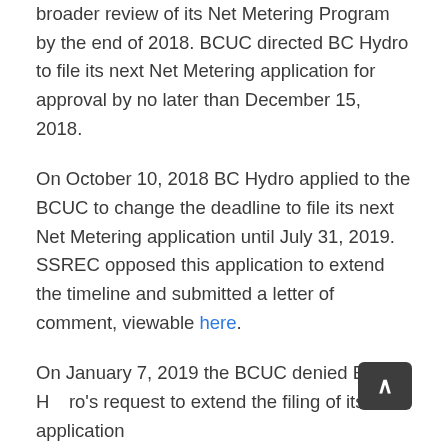broader review of its Net Metering Program by the end of 2018. BCUC directed BC Hydro to file its next Net Metering application for approval by no later than December 15, 2018.
On October 10, 2018 BC Hydro applied to the BCUC to change the deadline to file its next Net Metering application until July 31, 2019. SSREC opposed this application to extend the timeline and submitted a letter of comment, viewable here.
On January 7, 2019 the BCUC denied BC Hydro's request to extend the filing of its application